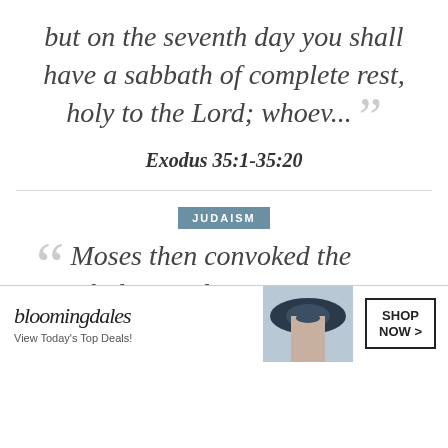but on the seventh day you shall have a sabbath of complete rest, holy to the Lord; whoev...
Exodus 35:1-35:20
JUDAISM
Moses then convoked the whole Israelite community and said to them: These are
[Figure (other): Bloomingdale's advertisement banner with logo, 'View Today's Top Deals!' text, woman with hat, and 'SHOP NOW >' button]